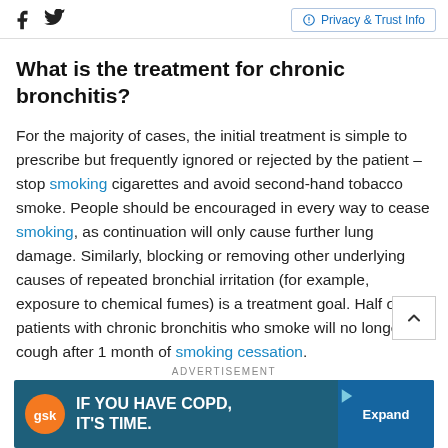Facebook Twitter | Privacy & Trust Info
What is the treatment for chronic bronchitis?
For the majority of cases, the initial treatment is simple to prescribe but frequently ignored or rejected by the patient – stop smoking cigarettes and avoid second-hand tobacco smoke. People should be encouraged in every way to cease smoking, as continuation will only cause further lung damage. Similarly, blocking or removing other underlying causes of repeated bronchial irritation (for example, exposure to chemical fumes) is a treatment goal. Half of the patients with chronic bronchitis who smoke will no longer cough after 1 month of smoking cessation.
[Figure (infographic): GSK advertisement banner: IF YOU HAVE COPD, IT'S TIME. with Expand button]